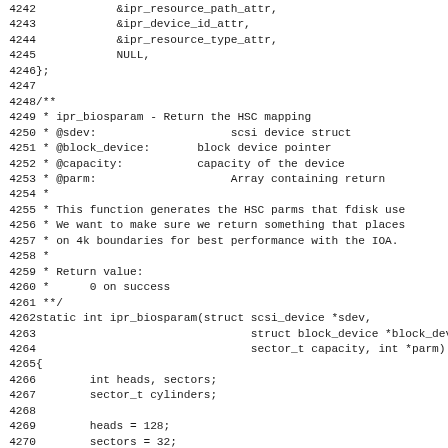Source code listing, lines 4242-4274, showing C code for ipr_biosparam function and related structures.